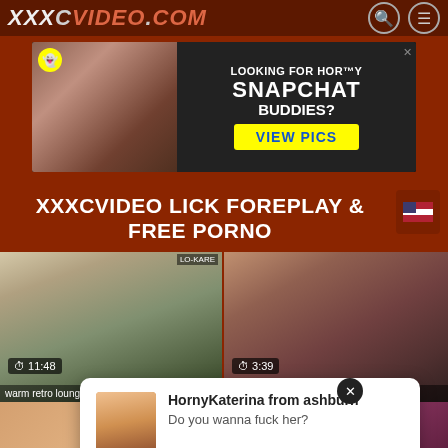XXXCVIDEO.COM
[Figure (photo): Advertisement banner: Snapchat Buddies ad with text LOOKING FOR HORNY SNAPCHAT BUDDIES? VIEW PICS]
XXXCVIDEO LICK FOREPLAY & FREE PORNO
[Figure (photo): Video thumbnail left: warm retro lounge time with, duration 11:48]
[Figure (photo): Video thumbnail right: Yang girl and young man hav, duration 3:39]
[Figure (photo): Notification popup with female avatar, text: HornyKaterina from ashburn - Do you wanna fuck her?]